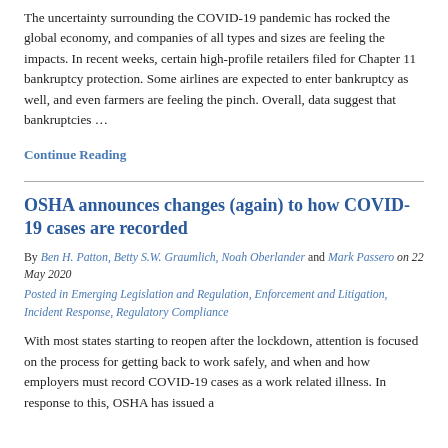The uncertainty surrounding the COVID-19 pandemic has rocked the global economy, and companies of all types and sizes are feeling the impacts. In recent weeks, certain high-profile retailers filed for Chapter 11 bankruptcy protection. Some airlines are expected to enter bankruptcy as well, and even farmers are feeling the pinch. Overall, data suggest that bankruptcies …
Continue Reading
OSHA announces changes (again) to how COVID-19 cases are recorded
By Ben H. Patton, Betty S.W. Graumlich, Noah Oberlander and Mark Passero on 22 May 2020
Posted in Emerging Legislation and Regulation, Enforcement and Litigation, Incident Response, Regulatory Compliance
With most states starting to reopen after the lockdown, attention is focused on the process for getting back to work safely, and when and how employers must record COVID-19 cases as a work related illness. In response to this, OSHA has issued a